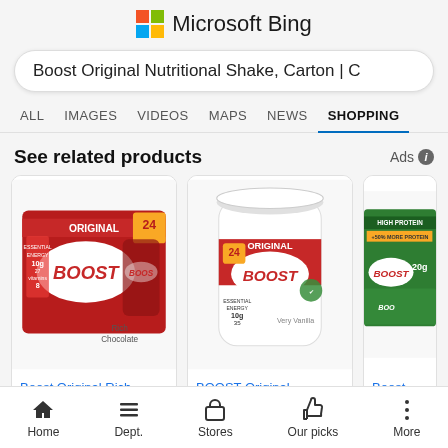Microsoft Bing
Boost Original Nutritional Shake, Carton | C
ALL | IMAGES | VIDEOS | MAPS | NEWS | SHOPPING
See related products
[Figure (screenshot): Three Boost product cards: 'Boost Original Rich', 'BOOST Original', 'Boost Nutritio...' with product photos]
Home | Dept. | Stores | Our picks | More